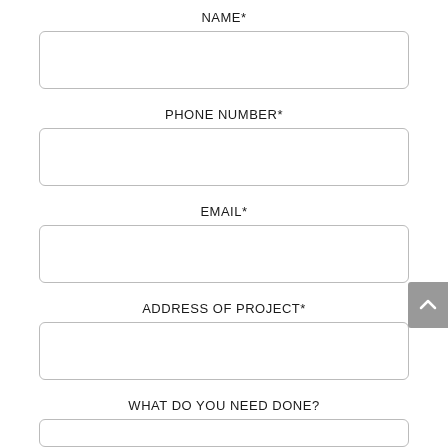NAME*
PHONE NUMBER*
EMAIL*
ADDRESS OF PROJECT*
WHAT DO YOU NEED DONE?